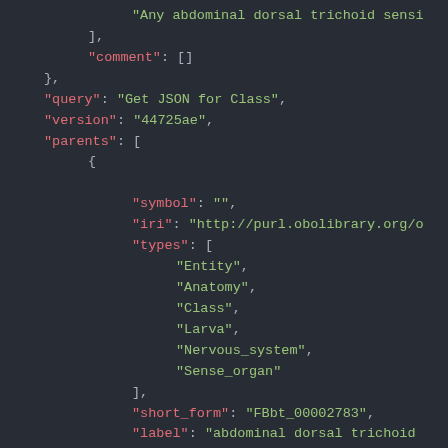JSON code snippet showing query result with parents array containing symbol, iri, types, short_form, and label fields
"Any abdominal dorsal trichoid sensi
    ],
    "comment": []
},
"query": "Get JSON for Class",
"version": "44725ae",
"parents": [
    {
        "symbol": "",
        "iri": "http://purl.obolibrary.org/o
        "types": [
            "Entity",
            "Anatomy",
            "Class",
            "Larva",
            "Nervous_system",
            "Sense_organ"
        ],
        "short_form": "FBbt_00002783",
        "label": "abdominal dorsal trichoid
    }
]